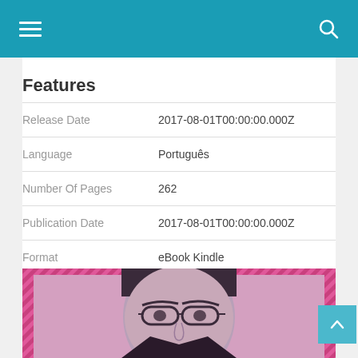Navigation bar with hamburger menu and search icon
Features
|  |  |
| --- | --- |
| Release Date | 2017-08-01T00:00:00.000Z |
| Language | Português |
| Number Of Pages | 262 |
| Publication Date | 2017-08-01T00:00:00.000Z |
| Format | eBook Kindle |
[Figure (photo): Book cover showing a black and white portrait of a man with glasses against a pink background with diagonal stripe pattern border]